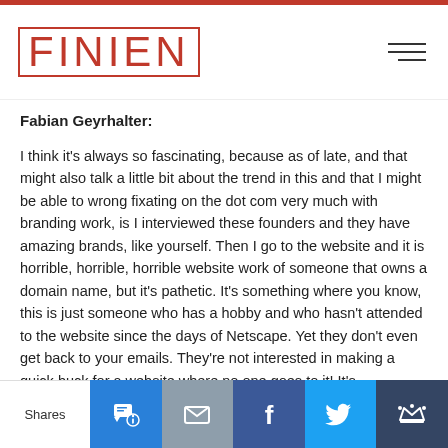FINIEN
Fabian Geyrhalter:
I think it's always so fascinating, because as of late, and that might also talk a little bit about the trend in this and that I might be able to wrong fixating on the dot com very much with branding work, is I interviewed these founders and they have amazing brands, like yourself. Then I go to the website and it is horrible, horrible, horrible website work of someone that owns a domain name, but it's pathetic. It's something where you know, this is just someone who has a hobby and who hasn't attended to the website since the days of Netscape. Yet they don't even get back to your emails. They're not interested in making a quick buck for a website where no one goes to it! It's fascinating for me, but now that we have already entered the animal kingdom with All Turtles, why don't we talk about Evernote? How Evernote got an elephant as its logo, because I definitely want to check that off our
Shares